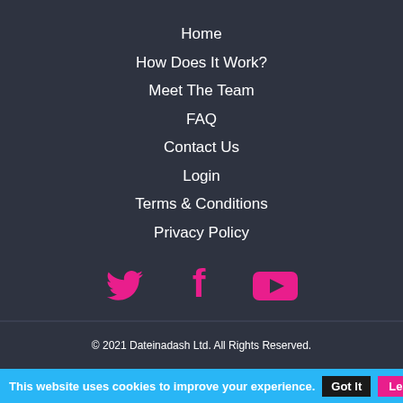Home
How Does It Work?
Meet The Team
FAQ
Contact Us
Login
Terms & Conditions
Privacy Policy
[Figure (illustration): Three social media icons: Twitter bird, Facebook f, YouTube play button, all in pink/magenta color]
© 2021 Dateinadash Ltd. All Rights Reserved.
This website uses cookies to improve your experience. Got It  Learn more